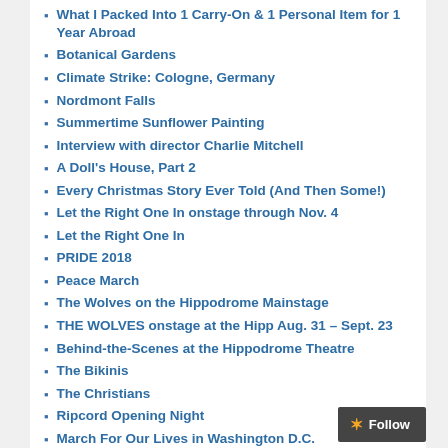What I Packed Into 1 Carry-On & 1 Personal Item for 1 Year Abroad
Botanical Gardens
Climate Strike: Cologne, Germany
Nordmont Falls
Summertime Sunflower Painting
Interview with director Charlie Mitchell
A Doll's House, Part 2
Every Christmas Story Ever Told (And Then Some!)
Let the Right One In onstage through Nov. 4
Let the Right One In
PRIDE 2018
Peace March
The Wolves on the Hippodrome Mainstage
THE WOLVES onstage at the Hipp Aug. 31 – Sept. 23
Behind-the-Scenes at the Hippodrome Theatre
The Bikinis
The Christians
Ripcord Opening Night
March For Our Lives in Washington D.C.
Most Creative Amazing Give Video Submission
Ripcord